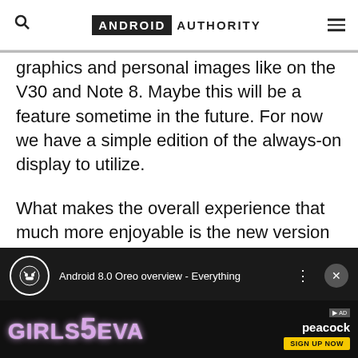ANDROID AUTHORITY
graphics and personal images like on the V30 and Note 8. Maybe this will be a feature sometime in the future. For now we have a simple edition of the always-on display to utilize.

What makes the overall experience that much more enjoyable is the new version of Android that's running on the Pixel 2. Android 8.0 Oreo is here and, in case you haven't read our full review yet (spoiler alert), it's wonderful.
See also: Android 8.0 review: Oreo is for everyone
[Figure (screenshot): Android 8.0 Oreo overview video thumbnail with Android Authority branding and Girls5Eva Peacock advertisement at bottom]